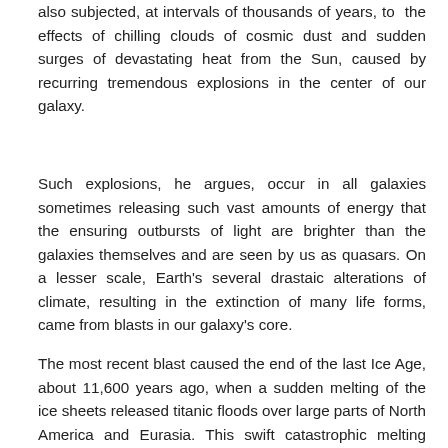also subjected, at intervals of thousands of years, to the effects of chilling clouds of cosmic dust and sudden surges of devastating heat from the Sun, caused by recurring tremendous explosions in the center of our galaxy.
Such explosions, he argues, occur in all galaxies sometimes releasing such vast amounts of energy that the ensuring outbursts of light are brighter than the galaxies themselves and are seen by us as quasars. On a lesser scale, Earth's several drastaic alterations of climate, resulting in the extinction of many life forms, came from blasts in our galaxy's core.
The most recent blast caused the end of the last Ice Age, about 11,600 years ago, when a sudden melting of the ice sheets released titanic floods over large parts of North America and Eurasia. This swift catastrophic melting resulted from surges of intense heat triggered in the Sun by the [invading dust].